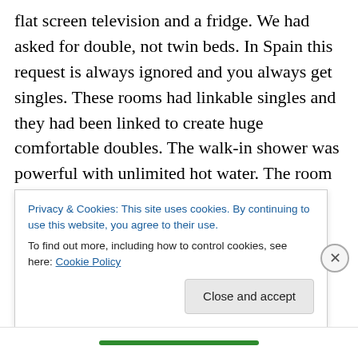flat screen television and a fridge. We had asked for double, not twin beds. In Spain this request is always ignored and you always get singles. These rooms had linkable singles and they had been linked to create huge comfortable doubles. The walk-in shower was powerful with unlimited hot water. The room suits were set in gardens including a swimming pool and a large tent against the sun with loungers inside and out. At night waterfalls were turned on and lit and the gardens lit by oil lamps. Breakfast consisted of a variety of local breads muffins and pancakes with butter jam honey and savoury
Privacy & Cookies: This site uses cookies. By continuing to use this website, you agree to their use. To find out more, including how to control cookies, see here: Cookie Policy
Close and accept